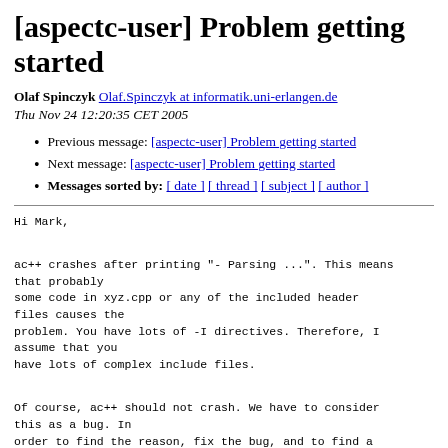[aspectc-user] Problem getting started
Olaf Spinczyk Olaf.Spinczyk at informatik.uni-erlangen.de
Thu Nov 24 12:20:35 CET 2005
Previous message: [aspectc-user] Problem getting started
Next message: [aspectc-user] Problem getting started
Messages sorted by: [ date ] [ thread ] [ subject ] [ author ]
Hi Mark,

ac++ crashes after printing "- Parsing ...". This means that probably
some code in xyz.cpp or any of the included header files causes the
problem. You have lots of -I directives. Therefore, I assume that you
have lots of complex include files.

Of course, ac++ should not crash. We have to consider this as a bug. In
order to find the reason, fix the bug, and to find a workaround quickly